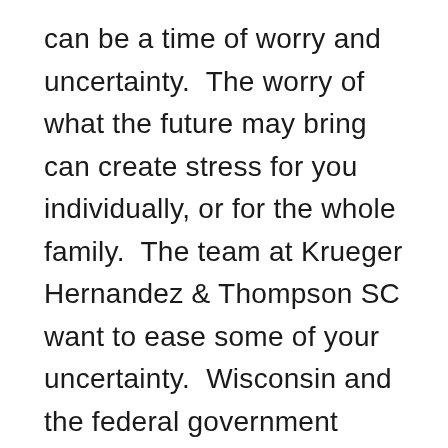can be a time of worry and uncertainty.  The worry of what the future may bring can create stress for you individually, or for the whole family.  The team at Krueger Hernandez & Thompson SC want to ease some of your uncertainty.  Wisconsin and the federal government have pregnancy employment law that protects your job.  When a pregnant employee is treated less favorably than an employee with a temporary disability, it is considered discrimination on the bases of sex.  In fact, an employer cannot make employment